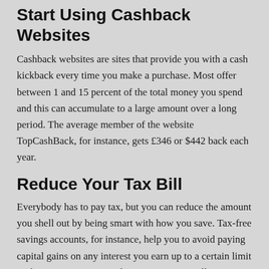Start Using Cashback Websites
Cashback websites are sites that provide you with a cash kickback every time you make a purchase. Most offer between 1 and 15 percent of the total money you spend and this can accumulate to a large amount over a long period. The average member of the website TopCashBack, for instance, gets £346 or $442 back each year.
Reduce Your Tax Bill
Everybody has to pay tax, but you can reduce the amount you shell out by being smart with how you save. Tax-free savings accounts, for instance, help you to avoid paying capital gains on any interest you earn up to a certain limit each year. Investment and savings accounts allow you to save tax-free, reducing